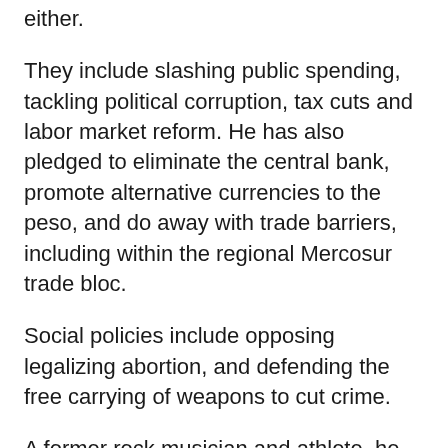either.
They include slashing public spending, tackling political corruption, tax cuts and labor market reform. He has also pledged to eliminate the central bank, promote alternative currencies to the peso, and do away with trade barriers, including within the regional Mercosur trade bloc.
Social policies include opposing legalizing abortion, and defending the free carrying of weapons to cut crime.
A former rock musician and athlete, he has regularly appeared on television in recent years and starred in a theater play called “Milei’s office” focused on economics. Last year he held a flashy event at a huge concert venue in Buenos Aires to celebrate his success in legislative elections and has previously dressed up as a superhero to combat the “Keynesians.”
“Argentina has been trying out the recipe for social democracy for 100 years and, from being one of the richest countries in the world, today we are 70th,” said Milei